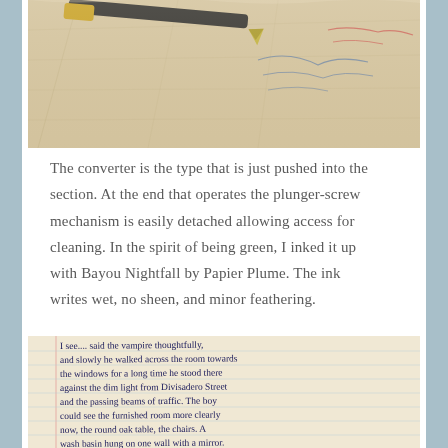[Figure (photo): Close-up photo of a fountain pen nib resting on a handwritten/annotated map or paper with blue and red ink markings visible.]
The converter is the type that is just pushed into the section. At the end that operates the plunger-screw mechanism is easily detached allowing access for cleaning. In the spirit of being green, I inked it up with Bayou Nightfall by Papier Plume. The ink writes wet, no sheen, and minor feathering.
[Figure (photo): Photo of handwritten text on ruled notebook paper in dark blue ink reading: 'I see.... said the vampire thoughtfully, and slowly he walked across the room towards the windows for a long time he stood there against the dim light from Divisadero Street and the passing beams of traffic. The boy could see the furnished room more clearly now, the round oak table, the chairs. A wash basin hung on one wall with a mirror.']